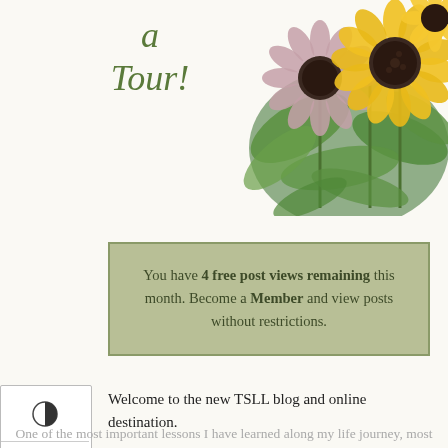a Tour!
[Figure (illustration): Watercolor illustration of sunflowers and mixed flowers bouquet in yellow, pink, and green tones]
You have 4 free post views remaining this month. Become a Member and view posts without restrictions.
Welcome to the new TSLL blog and online destination.
One of the most important lessons I have learned along my life journey, most particularly in the past two years